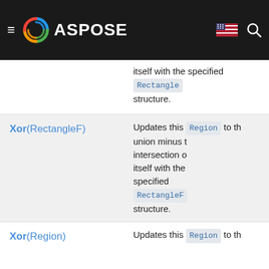ASPOSE
| Method | Description |
| --- | --- |
|  | itself with the specified Rectangle structure. |
| Xor(RectangleF) | Updates this Region to the union minus the intersection of itself with the specified RectangleF structure. |
| Xor(Region) | Updates this Region to the... |